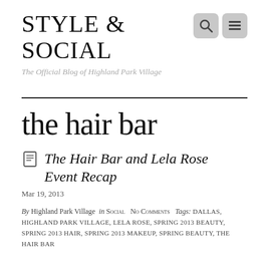STYLE & SOCIAL
The Official Blog of Highland Park Village
the hair bar
The Hair Bar and Lela Rose Event Recap
Mar 19, 2013
By Highland Park Village  in Social  No Comments  Tags: DALLAS, HIGHLAND PARK VILLAGE, LELA ROSE, SPRING 2013 BEAUTY, SPRING 2013 HAIR, SPRING 2013 MAKEUP, SPRING BEAUTY, THE HAIR BAR